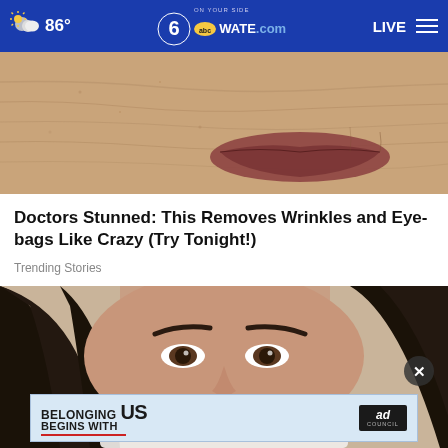86° | 6 abc WATE.com | LIVE
[Figure (photo): Close-up of elderly skin with wrinkles and lips]
Doctors Stunned: This Removes Wrinkles and Eye-bags Like Crazy (Try Tonight!)
Trending Stories
[Figure (photo): Close-up of young woman's face holding white cloth near nose, with dark hair and defined eyebrows]
[Figure (other): Advertisement banner: BELONGING BEGINS WITH US — Ad Council logo]